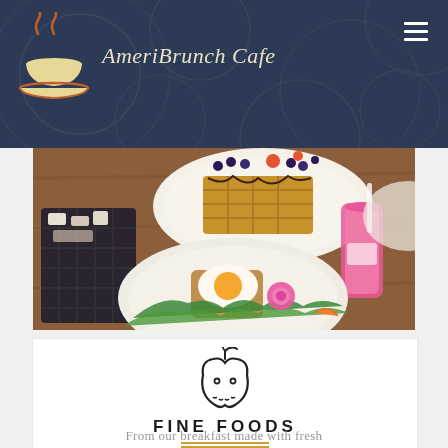AmeriBrunch Cafe
[Figure (photo): Overhead view of brunch dishes on a wooden table including waffles with blueberries, a bowl of greens with eggs, and a pink smoothie drink]
[Figure (illustration): Line drawing icon of a cute apple with small eyes and a leaf on top]
FINE FOODS
From our breakfast made with fresh